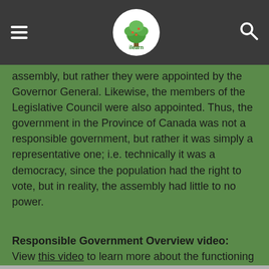ilearn (logo), hamburger menu, search icon
assembly,  but rather they were appointed by the Governor General.  Likewise, the members of the Legislative Council were also appointed.  Thus, the government in the Province of Canada was not a responsible government, but rather it was simply a representative one;  i.e. technically it was a democracy, since the population had the right to vote, but in reality, the assembly had little to no power.
Responsible Government Overview video:
View this video to learn more about the functioning of a responsible government in general.  Return to this video later after overviewing other pre- and post-responsible government events!